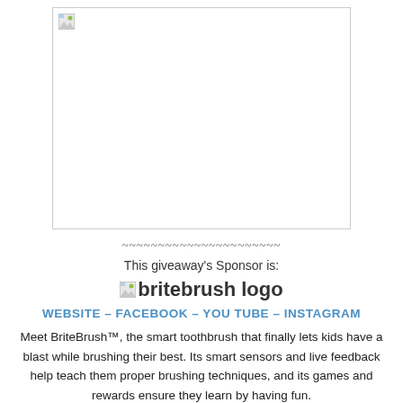[Figure (photo): Broken/missing image placeholder with border, representing a product or giveaway image]
~~~~~~~~~~~~~~~~~~~~~~
This giveaway's Sponsor is:
[Figure (logo): BriteBrush logo image (broken/missing) with text 'britebrush logo']
WEBSITE – FACEBOOK – YOU TUBE – INSTAGRAM
Meet BriteBrush™, the smart toothbrush that finally lets kids have a blast while brushing their best. Its smart sensors and live feedback help teach them proper brushing techniques, and its games and rewards ensure they learn by having fun.